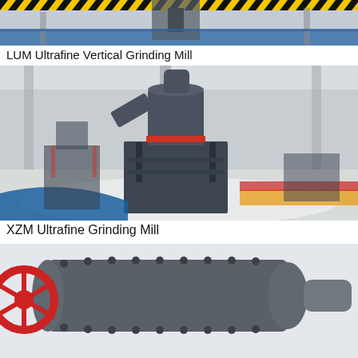[Figure (photo): Top portion of LUM Ultrafine Vertical Grinding Mill with yellow-black hazard striped beam and industrial equipment on blue surface]
LUM Ultrafine Vertical Grinding Mill
[Figure (photo): XZM Ultrafine Grinding Mill machines in a large factory/warehouse setting, with white granular material around the base and colorful floor markings]
XZM Ultrafine Grinding Mill
[Figure (photo): Bottom portion of a ball mill showing cylindrical body with bolted flanges and a red wheel gear, on light background]